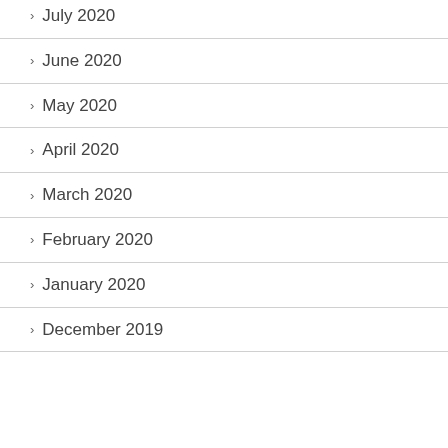> July 2020
> June 2020
> May 2020
> April 2020
> March 2020
> February 2020
> January 2020
> December 2019